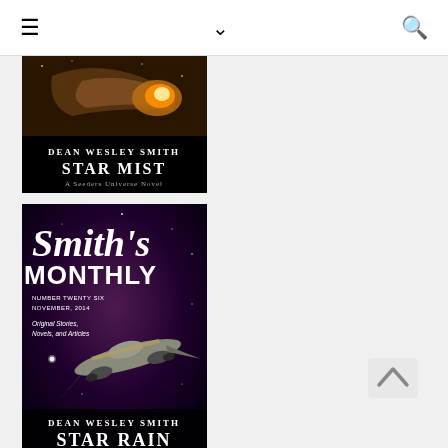☰ ∨ 🔍
[Figure (illustration): Book cover: Dean Wesley Smith - Star Mist, A Seeders Universe Novel. Dark space scene with spacecraft.]
[Figure (illustration): Book cover: Smith's Monthly, Number Twenty Six, November 2014 - Dean Wesley Smith - Star Rain, A Seeders Universe Novel. Space scene with jet aircraft.]
[Figure (illustration): Partial book cover: Smith's Monthly, red background with white text (partially visible at bottom of page).]